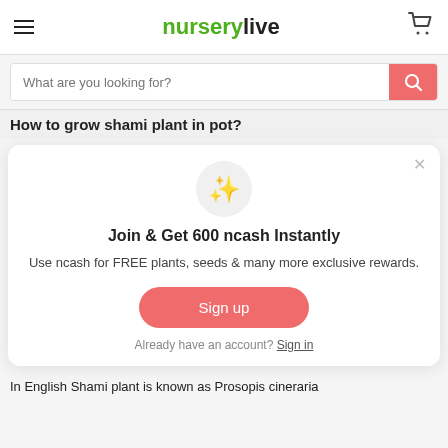nurserylive
What are you looking for?
How to grow shami plant in pot?
Join & Get 600 ncash Instantly
Use ncash for FREE plants, seeds & many more exclusive rewards.
Sign up
Already have an account? Sign in
In English Shami plant is known as Prosopis cineraria